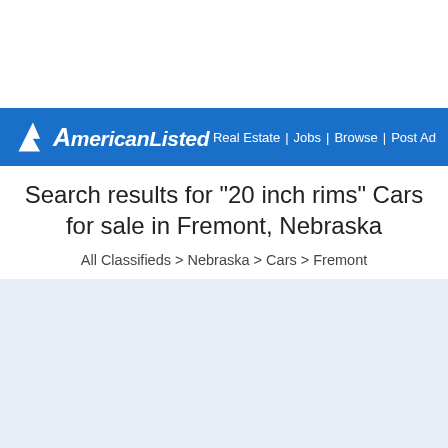AmericanListed — Real Estate | Jobs | Browse | Post Ad
Search results for "20 inch rims" Cars for sale in Fremont, Nebraska
All Classifieds > Nebraska > Cars > Fremont